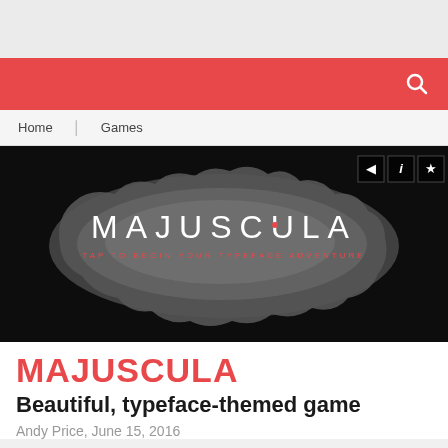[Figure (screenshot): Majuscula game splash screen on a dark background with the title MAJUSCULA in white letters and subtitle TAP TO BEGIN YOUR TYPEFACE ADVENTURE in orange, showing a cloud-like gray shape on black background, with icon buttons for sound, info, and favorites in top right corner]
MAJUSCULA
Beautiful, typeface-themed game
Andy Price, June 15, 2016